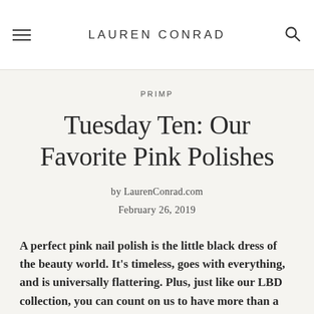LAUREN CONRAD
PRIMP
Tuesday Ten: Our Favorite Pink Polishes
by LaurenConrad.com
February 26, 2019
A perfect pink nail polish is the little black dress of the beauty world. It's timeless, goes with everything, and is universally flattering. Plus, just like our LBD collection, you can count on us to have more than a few stashed away in our makeup bags. Since we're always looking for our next